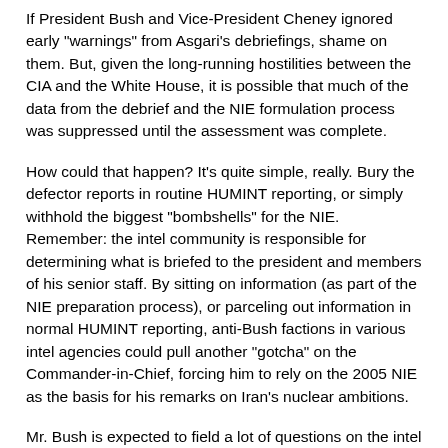If President Bush and Vice-President Cheney ignored early "warnings" from Asgari's debriefings, shame on them. But, given the long-running hostilities between the CIA and the White House, it is possible that much of the data from the debrief and the NIE formulation process was suppressed until the assessment was complete.
How could that happen? It's quite simple, really. Bury the defector reports in routine HUMINT reporting, or simply withhold the biggest "bombshells" for the NIE. Remember: the intel community is responsible for determining what is briefed to the president and members of his senior staff. By sitting on information (as part of the NIE preparation process), or parceling out information in normal HUMINT reporting, anti-Bush factions in various intel agencies could pull another "gotcha" on the Commander-in-Chief, forcing him to rely on the 2005 NIE as the basis for his remarks on Iran's nuclear ambitions.
Mr. Bush is expected to field a lot of questions on the intel assessment at today's news conference. The MSM won't